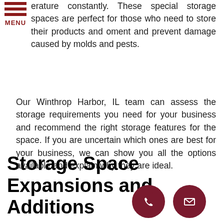erature constantly. These special storage spaces are perfect for those who need to store their products and oment and prevent damage caused by molds and pests.
Our Winthrop Harbor, IL team can assess the storage requirements you need for your business and recommend the right storage features for the space. If you are uncertain which ones are best for your business, we can show you all the options available and explain why they are ideal.
Storage Space Expansions and Additions
[Figure (illustration): Phone call button icon - dark red circle with white telephone handset icon]
[Figure (illustration): Email button icon - dark red circle with white envelope icon]